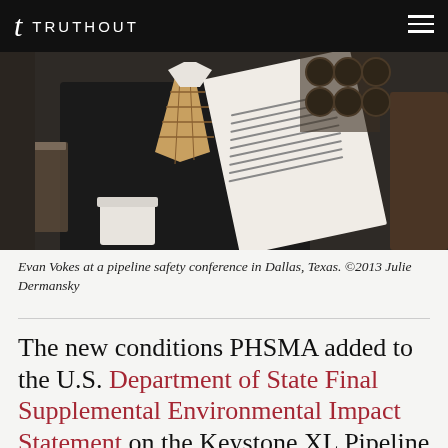TRUTHOUT
[Figure (photo): Evan Vokes at a pipeline safety conference in Dallas, Texas. A person in a dark suit and plaid tie holds documents while seated at a table with drinks.]
Evan Vokes at a pipeline safety conference in Dallas, Texas. ©2013 Julie Dermansky
The new conditions PHSMA added to the U.S. Department of State Final Supplemental Environmental Impact Statement on the Keystone XL Pipeline came after meeting with